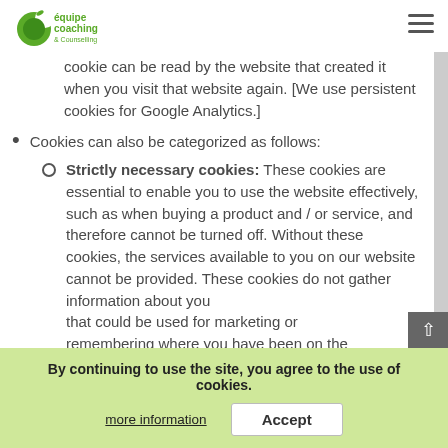equipe coaching & Counselling [logo] [hamburger menu]
cookie can be read by the website that created it when you visit that website again. [We use persistent cookies for Google Analytics.]
Cookies can also be categorized as follows:
Strictly necessary cookies: These cookies are essential to enable you to use the website effectively, such as when buying a product and / or service, and therefore cannot be turned off. Without these cookies, the services available to you on our website cannot be provided. These cookies do not gather information about you that could be used for marketing or remembering where you have been on the internet.
By continuing to use the site, you agree to the use of cookies. more information  Accept